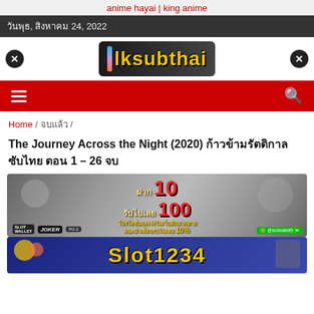anime hayai | king anime
วันพุธ, สิงหาคม 24, 2022
[Figure (logo): lksubthai site logo with colorful accent bar and yellow bold text on dark background]
[Figure (other): Red navigation bar with hamburger menu icon on left and search icon on right]
Home / จบแล้ว /
The Journey Across the Night (2020) ก้าวข้ามรัตติกาล ซับไทย ตอน 1 – 26 จบ
[Figure (photo): Online casino slot advertisement banner: ฝาก 10 รับไปเลย 100, โปรโมชั่นสุดเจ๋งในเว็บอีกมากมาย แนะนำเพื่อนรับไปเลย 10%, logos: SLOT WALLET, JOKER, PG, LINE @slotwallet9]
[Figure (photo): Second casino advertisement banner with Slot1234 text in gold on dark blue background]